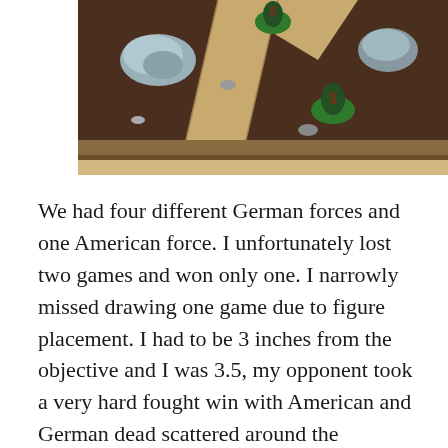[Figure (photo): A tabletop wargame battlefield scene showing a dark brown felt mat with a tan/beige road, miniature trees on green bases, and rock terrain pieces scattered around.]
We had four different German forces and one American force. I unfortunately lost two games and won only one. I narrowly missed drawing one game due to figure placement. I had to be 3 inches from the objective and I was 3.5, my opponent took a very hard fought win with American and German dead scattered around the battlefield. The highlight of that game was my Nebelwerfer hitting twice, one hitting two units directly and splashing damage onto a